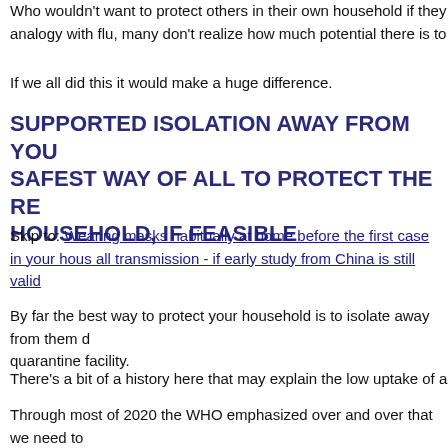Who wouldn't want to protect others in their own household if they knew of the analogy with flu, many don't realize how much potential there is to block CO
If we all did this it would make a huge difference.
SUPPORTED ISOLATION AWAY FROM YOUR HOUSEHOLD, THE SAFEST WAY OF ALL TO PROTECT THE REST OF YOUR HOUSEHOLD, IF FEASIBLE
Skip to: Wearing masks habitually at home before the first case in your household stops all transmission - if early study from China is still valid
By far the best way to protect your household is to isolate away from them during quarantine facility.
There's a bit of a history here that may explain the low uptake of action to st
Through most of 2020 the WHO emphasized over and over that we need to people away from their own household - to provide that capability.
This was misrepresented by some journalists as the WHO wanting to take p
After that it was very difficult to get the message out about how you can pre